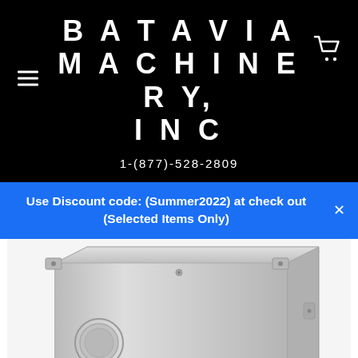BATAVIA MACHINERY, INC
1-(877)-528-2809
Use Discount code: (Summer2022) at check out (Selected Items Only)
[Figure (photo): A metal electrical enclosure or control box, silver/gray in color, with a circular red button/indicator visible at the bottom, photographed at an angle showing the top and front face. The box has mounting tabs and small screws at corners.]